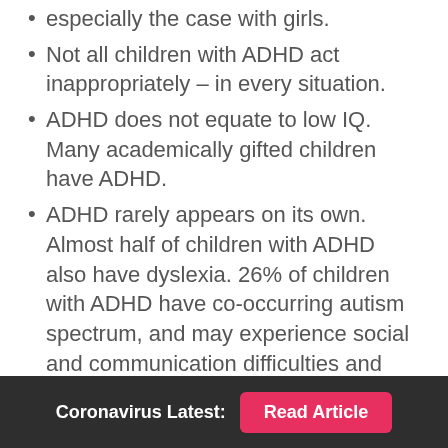especially the case with girls.
Not all children with ADHD act inappropriately – in every situation.
ADHD does not equate to low IQ. Many academically gifted children have ADHD.
ADHD rarely appears on its own. Almost half of children with ADHD also have dyslexia. 26% of children with ADHD have co-occurring autism spectrum, and may experience social and communication difficulties and sensory difficulties relating to lights, noise, taste and touch. Some children with ADHD also have co-occurring dyspraxia, affecting movement and other learning differences. Many children with ADHD may experience involuntary physical or verbal tics – which can be very distressing.
CHARACTERISTICS
Coronavirus Latest:  Read Article